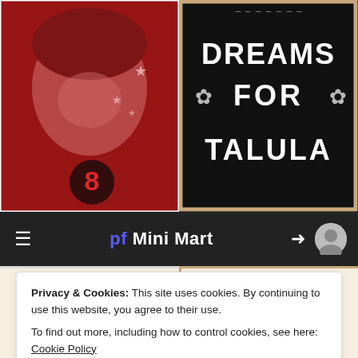[Figure (screenshot): Top left: reddish-tinted photo of a young boy smiling with star graphics and number 8]
[Figure (screenshot): Top right: black background card with white hand-lettered text reading DREAMS FOR TALULA with flower decorations]
[Figure (screenshot): Bottom left: cream background with blue line drawing of a walking figure, text BLINKTOWN... POP at bottom]
[Figure (screenshot): Bottom right: cream background with handwritten text WON'T YOU SHARE THIS JAM WITH ME? and decorative elements]
Privacy & Cookies: This site uses cookies. By continuing to use this website, you agree to their use.
To find out more, including how to control cookies, see here: Cookie Policy
Close and accept
Search The Blog